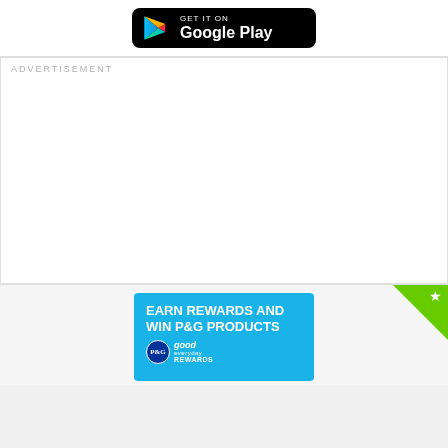[Figure (logo): Google Play store badge — black rounded rectangle with the Google Play triangle icon and text 'GET IT ON Google Play' in white]
ADVERTISEMENT
[Figure (photo): P&G Good Everyday Rewards advertisement banner — teal/blue background with text 'EARN REWARDS AND WIN P&G PRODUCTS', P&G logo, Good Everyday Rewards branding, and product imagery]
[Figure (illustration): Green triangle corner badge with a white star icon in the top-right corner]